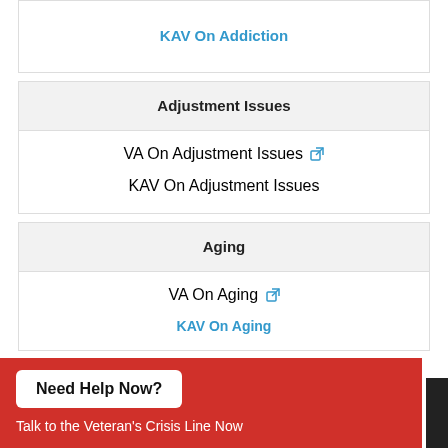KAV On Addiction
Adjustment Issues
VA On Adjustment Issues
KAV On Adjustment Issues
Aging
VA On Aging
KAV On Aging
Need Help Now?
Talk to the Veteran's Crisis Line Now